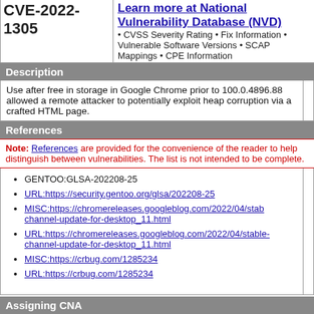CVE-2022-1305
Learn more at National Vulnerability Database (NVD) • CVSS Severity Rating • Fix Information • Vulnerable Software Versions • SCAP Mappings • CPE Information
Description
Use after free in storage in Google Chrome prior to 100.0.4896.88 allowed a remote attacker to potentially exploit heap corruption via a crafted HTML page.
References
Note: References are provided for the convenience of the reader to help distinguish between vulnerabilities. The list is not intended to be complete.
GENTOO:GLSA-202208-25
URL:https://security.gentoo.org/glsa/202208-25
MISC:https://chromereleases.googleblog.com/2022/04/stable-channel-update-for-desktop_11.html
URL:https://chromereleases.googleblog.com/2022/04/stable-channel-update-for-desktop_11.html
MISC:https://crbug.com/1285234
URL:https://crbug.com/1285234
Assigning CNA